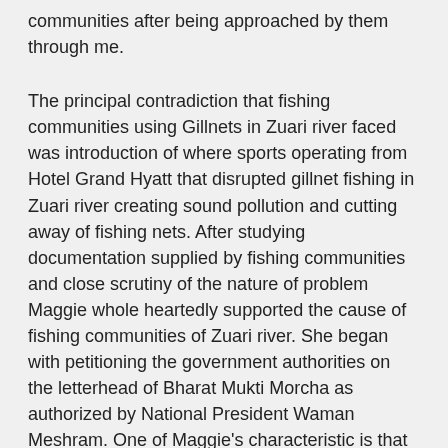communities after being approached by them through me.
The principal contradiction that fishing communities using Gillnets in Zuari river faced was introduction of where sports operating from Hotel Grand Hyatt that disrupted gillnet fishing in Zuari river creating sound pollution and cutting away of fishing nets. After studying documentation supplied by fishing communities and close scrutiny of the nature of problem Maggie whole heartedly supported the cause of fishing communities of Zuari river. She began with petitioning the government authorities on the letterhead of Bharat Mukti Morcha as authorized by National President Waman Meshram. One of Maggie's characteristic is that she never got involved with superficial understanding and investigated deeply, thoughroughly, continuesly.
After effective intervention fishing communities from Odxel, Cacra, Nauxim, Bambolim and Siridao brought the issue of illegal fishing in Zuari river by trawlers. Bharat Mukti Morcha